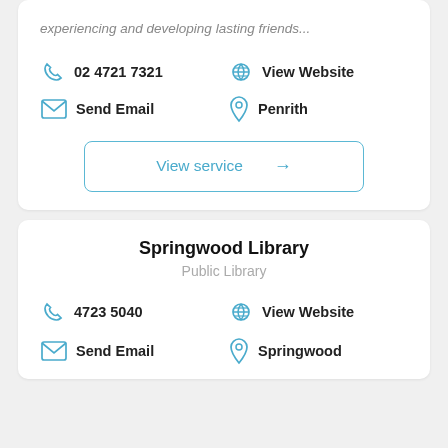experiencing and developing lasting friends...
02 4721 7321
View Website
Send Email
Penrith
View service →
Springwood Library
Public Library
4723 5040
View Website
Send Email
Springwood